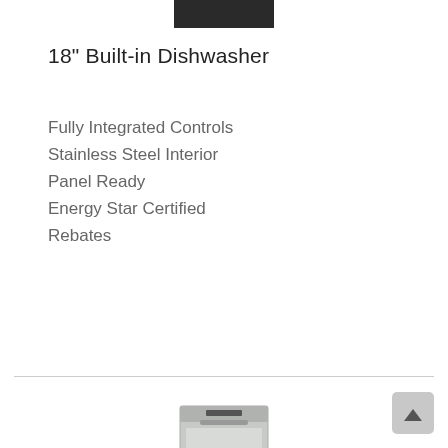[Figure (photo): Dark rectangular image at top center, partial view of a built-in dishwasher panel or control strip]
18" Built-in Dishwasher
Fully Integrated Controls
Stainless Steel Interior
Panel Ready
Energy Star Certified
Rebates
View All
[Figure (photo): Front view of a stainless steel 18-inch built-in dishwasher with control panel at top and handle]